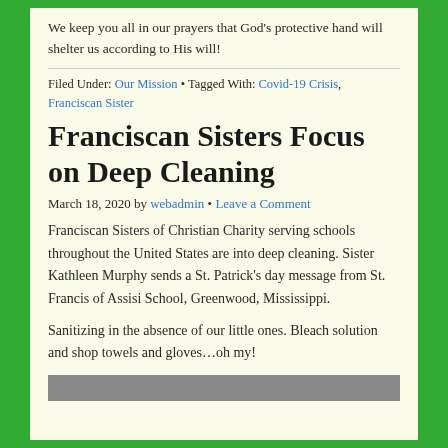We keep you all in our prayers that God's protective hand will shelter us according to His will!
Filed Under: Our Mission • Tagged With: Covid-19 Crisis, Franciscan Sister
Franciscan Sisters Focus on Deep Cleaning
March 18, 2020 by webadmin • Leave a Comment
Franciscan Sisters of Christian Charity serving schools throughout the United States are into deep cleaning. Sister Kathleen Murphy sends a St. Patrick's day message from St. Francis of Assisi School, Greenwood, Mississippi.
Sanitizing in the absence of our little ones. Bleach solution and shop towels and gloves…oh my!
[Figure (photo): Partial view of a photo at the bottom of the page, partially cropped]